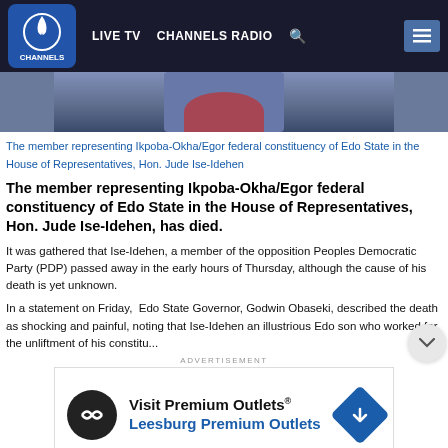LIVE TV   CHANNELS RADIO
[Figure (photo): Partial photo of Hon. Jude Ise-Idehen, cropped showing upper body]
The member representing Ikpoba-Okha/Egor federal constituency of Edo State in the House of Representatives, Hon. Jude Ise-Idehen
The member representing Ikpoba-Okha/Egor federal constituency of Edo State in the House of Representatives, Hon. Jude Ise-Idehen, has died.
It was gathered that Ise-Idehen, a member of the opposition Peoples Democratic Party (PDP) passed away in the early hours of Thursday, although the cause of his death is yet unknown.
In a statement on Friday,  Edo State Governor, Godwin Obaseki, described the death as shocking and painful, noting that Ise-Idehen an illustrious Edo son who worked for the unliftment of his constitu...
ADVERTISEMENT
[Figure (other): Advertisement banner for Visit Premium Outlets® / Leesburg Premium Outlets]